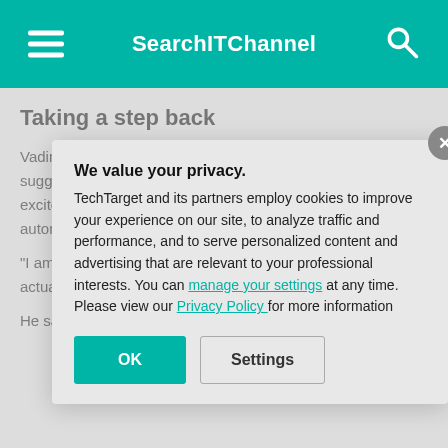SearchITChannel
Taking a step back
Vadim Tabakman, director of technical evangelism at Nintex, suggested that organizations are regrouping after their initial excitement over RPA. Nintex is a Bellevue, Wash. automation com...
"I am seeing a li... Tabakman said, ... acquired RPA to ... they actually nee... an issue around...
He said RPA ado... down, determine... zero in on where...
We value your privacy. TechTarget and its partners employ cookies to improve your experience on our site, to analyze traffic and performance, and to serve personalized content and advertising that are relevant to your professional interests. You can manage your settings at any time. Please view our Privacy Policy for more information